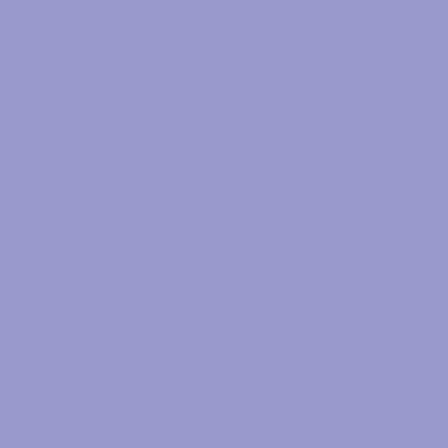[Figure (photo): Box of tailoring chalk product 4820, 999 QUICK label]
| Image | Item# | Name | Description |
| --- | --- | --- | --- |
| [image] | 4820 | 999 QUICK | W
Item |
| [image] | 4821 | 999 SLOW | W
Item |
Tailoring C
[Figure (photo): Tailoring chalk product image in gray area]
One pass with the chalk makes an even s Made of durable plastic. Attaches to side o slides out for easy cleaning.